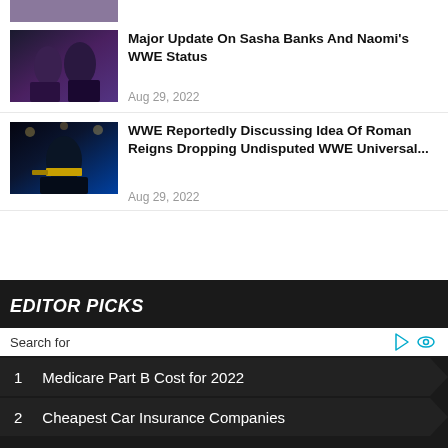[Figure (photo): Partial thumbnail of a wrestling/sports photo at top, cropped]
[Figure (photo): Photo of Sasha Banks and Naomi, two WWE wrestlers with championship belts]
Major Update On Sasha Banks And Naomi's WWE Status
Aug 29, 2022
[Figure (photo): Photo of Roman Reigns, WWE wrestler, holding championship belts in an arena]
WWE Reportedly Discussing Idea Of Roman Reigns Dropping Undisputed WWE Universal...
Aug 29, 2022
EDITOR PICKS
Search for
1  Medicare Part B Cost for 2022
2  Cheapest Car Insurance Companies